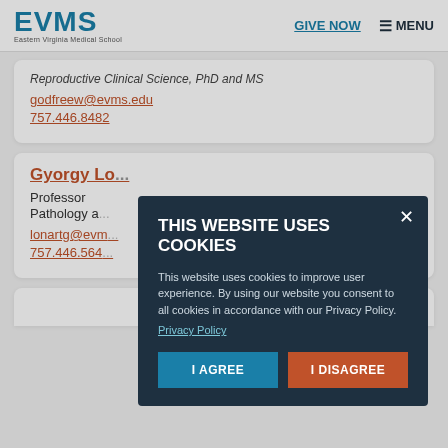EVMS Eastern Virginia Medical School | GIVE NOW | MENU
Reproductive Clinical Science, PhD and MS
godfreew@evms.edu
757.446.8482
Gyorgy Lo...
Professor
Pathology a...
lonartg@evm...
757.446.564...
THIS WEBSITE USES COOKIES
This website uses cookies to improve user experience. By using our website you consent to all cookies in accordance with our Privacy Policy.
Privacy Policy
I AGREE
I DISAGREE